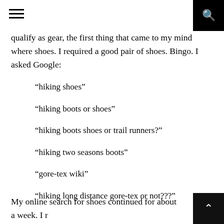[hamburger menu icon] [search icon]
qualify as gear, the first thing that came to my mind where shoes. I required a good pair of shoes. Bingo. I asked Google:
“hiking shoes”
“hiking boots or shoes”
“hiking boots shoes or trail runners?”
“hiking two seasons boots”
“gore-tex wiki”
“hiking long distance gore-tex or not???”
My online search for shoes continued for about a week. I r